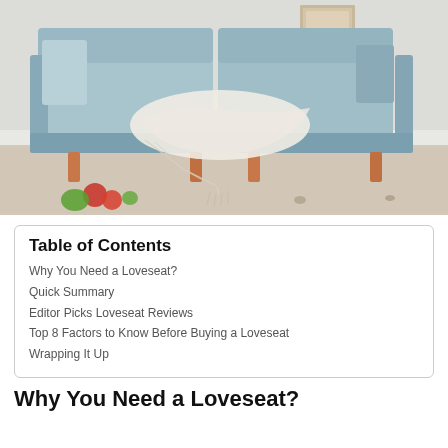[Figure (photo): A light blue/mint colored sofa with wooden legs, with a white knit throw blanket draped over it and two accent pillows. The sofa sits on a light neutral rug in a bright, minimalist room. In the foreground are some fruits on the floor.]
Table of Contents
Why You Need a Loveseat?
Quick Summary
Editor Picks Loveseat Reviews
Top 8 Factors to Know Before Buying a Loveseat
Wrapping It Up
Why You Need a Loveseat?